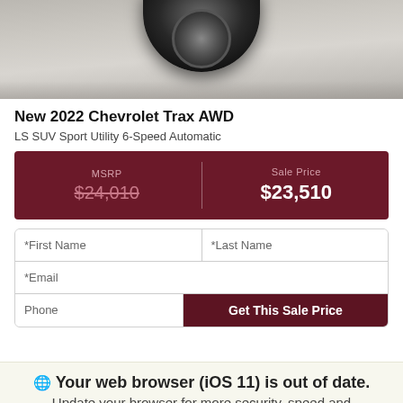[Figure (photo): Top portion of a Chevrolet Trax vehicle showing the wheel/tire area from above, on a gray surface]
New 2022 Chevrolet Trax AWD
LS SUV Sport Utility 6-Speed Automatic
MSRP $24,010 | Sale Price $23,510
*First Name  *Last Name  *Email  Phone  Get This Sale Price
Your web browser (iOS 11) is out of date. Update your browser for more security, speed and the best experience on this site.
* Net Price the best experience on this site.tives. Please see dealer for full details. All advertised vehicles are.